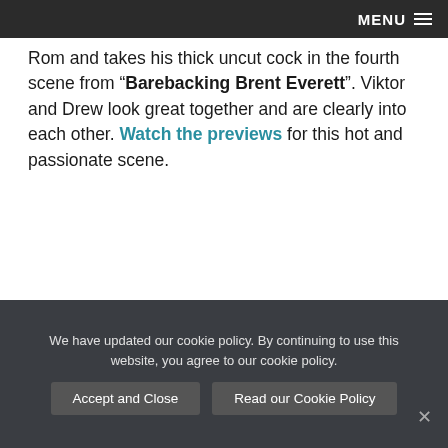MENU
Rom and takes his thick uncut cock in the fourth scene from “Barebacking Brent Everett”. Viktor and Drew look great together and are clearly into each other. Watch the previews for this hot and passionate scene.
7. ALEX MECUM, MANUEL SKYE DOUBLE-PENETRATE CARTER DANE
We have updated our cookie policy. By continuing to use this website, you agree to our cookie policy.
Accept and Close
Read our Cookie Policy